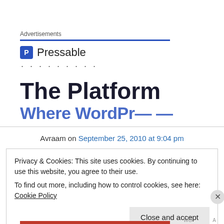Advertisements
[Figure (logo): Pressable logo with blue square icon containing letter P and the text Pressable]
The Platform
Where WordPr...
Avraam on September 25, 2010 at 9:04 pm
Privacy & Cookies: This site uses cookies. By continuing to use this website, you agree to their use.
To find out more, including how to control cookies, see here: Cookie Policy